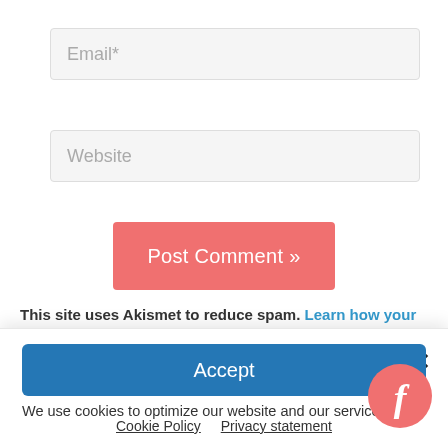Email*
Website
Post Comment »
This site uses Akismet to reduce spam. Learn how your
Manage Cookie Consent
We use cookies to optimize our website and our service.
Accept
Cookie Policy   Privacy statement